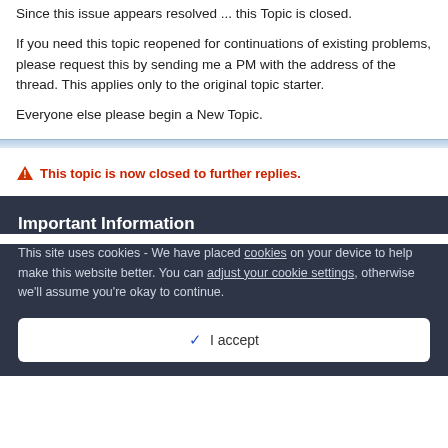Since this issue appears resolved ... this Topic is closed.
If you need this topic reopened for continuations of existing problems, please request this by sending me a PM with the address of the thread. This applies only to the original topic starter.
Everyone else please begin a New Topic.
⚠ This topic is now closed to further replies.
Important Information
This site uses cookies - We have placed cookies on your device to help make this website better. You can adjust your cookie settings, otherwise we'll assume you're okay to continue.
✓ I accept